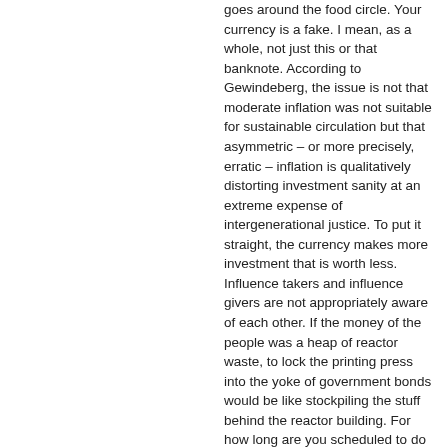goes around the food circle. Your currency is a fake. I mean, as a whole, not just this or that banknote. According to Gewindeberg, the issue is not that moderate inflation was not suitable for sustainable circulation but that asymmetric – or more precisely, erratic – inflation is qualitatively distorting investment sanity at an extreme expense of intergenerational justice. To put it straight, the currency makes more investment that is worth less. Influence takers and influence givers are not appropriately aware of each other. If the money of the people was a heap of reactor waste, to lock the printing press into the yoke of government bonds would be like stockpiling the stuff behind the reactor building. For how long are you scheduled to do that? As whole, this currency is a forgery. It would sell a tree that is resistant to fires and then round up the forest to corner the market. It would leave an excuse impossible to identify where it came from up to the last word. It would grab